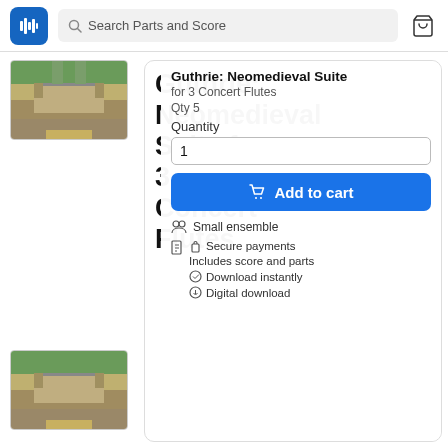Search Parts and Score
[Figure (photo): Thumbnail of a castle (Bodiam Castle) with a moat and bridge, top thumbnail]
[Figure (photo): Thumbnail of a castle (Bodiam Castle) with a moat and bridge, middle thumbnail]
[Figure (photo): Thumbnail of sheet music for Neomedieval Suite]
Guthrie: Neomedieval Suite for 3 Concert Flutes
Guthrie: Neomedieval Suite for 3 Concert Flutes
Qty 5
Quantity
1
Add to cart
Small ensemble
Secure payments
Includes score and parts
Download instantly
Digital download